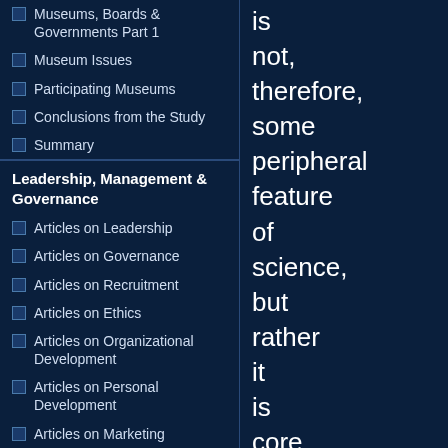Museums, Boards & Governments Part 1
Museum Issues
Participating Museums
Conclusions from the Study
Summary
Leadership, Management & Governance
Articles on Leadership
Articles on Governance
Articles on Recruitment
Articles on Ethics
Articles on Organizational Development
Articles on Personal Development
Articles on Marketing
Articles on Futures
Transformational Leadership
Leading Science
Choice Theory
Sumantra Ghoshal on
is not, therefore, some peripheral feature of science, but rather it is core to its practice.
Science education mostly lacks argument: "in